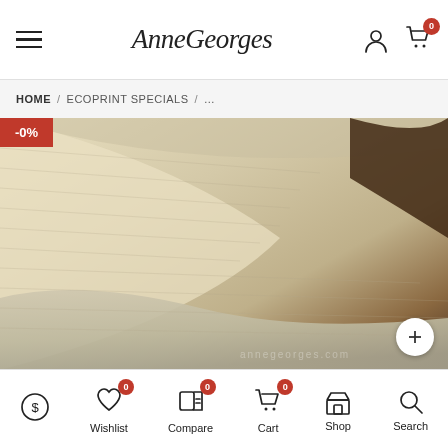AnneGeorges - navigation header with hamburger menu, logo, user icon, and cart (0)
HOME / ECOPRINT SPECIALS / ...
[Figure (photo): Close-up photo of natural beige/cream woven fabric (linen or cotton) folded, with dark brown background. A -0% discount badge appears in the top-left corner. A zoom/expand button is in the bottom-right.]
Bottom navigation: Price icon, Wishlist (0), Compare (0), Cart (0), Shop, Search